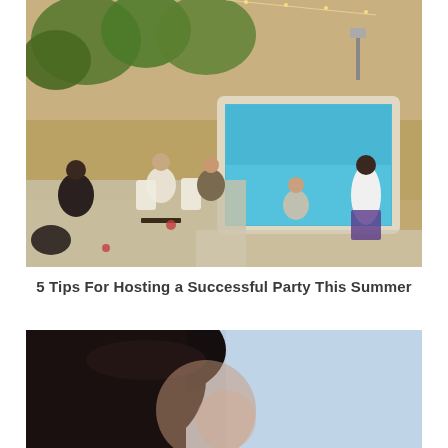[Figure (photo): Aerial/overhead view of a backyard pool party with a group of people sitting around patio furniture near a blue rectangular swimming pool, surrounded by trees and warm outdoor lighting at golden hour.]
5 Tips For Hosting a Successful Party This Summer
[Figure (photo): Close-up partial portrait of a person with dark hair against a light blue sky background.]